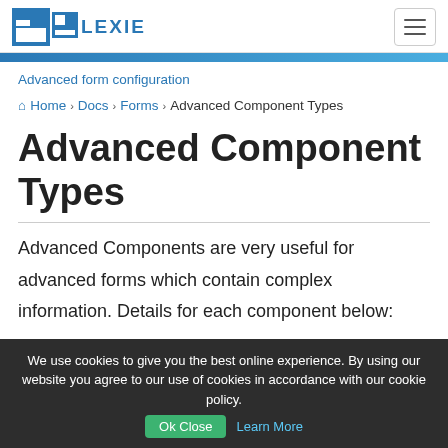FLEXIE
Advanced form configuration
Home › Docs › Forms › Advanced Component Types
Advanced Component Types
Advanced Components are very useful for advanced forms which contain complex information. Details for each component below:
We use cookies to give you the best online experience. By using our website you agree to our use of cookies in accordance with our cookie policy. Ok Close Learn More